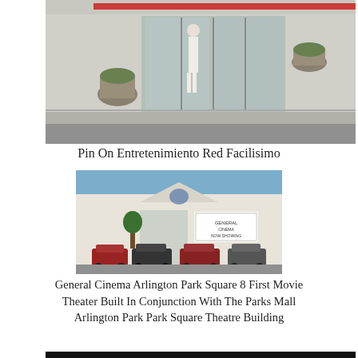[Figure (photo): Exterior photo of a building entrance with a person standing outside, large glass doors, decorative planters with plants, and a wide sidewalk/street in front.]
Pin On Entretenimiento Red Facilisimo
[Figure (photo): Exterior photo of General Cinema Arlington Park Square 8 movie theater building with white facade, a marquee sign, parked cars in front, and trees.]
General Cinema Arlington Park Square 8 First Movie Theater Built In Conjunction With The Parks Mall Arlington Park Park Square Theatre Building
[Figure (photo): Dark background photo showing the word TRISTANA in large white serif letters, partially visible.]